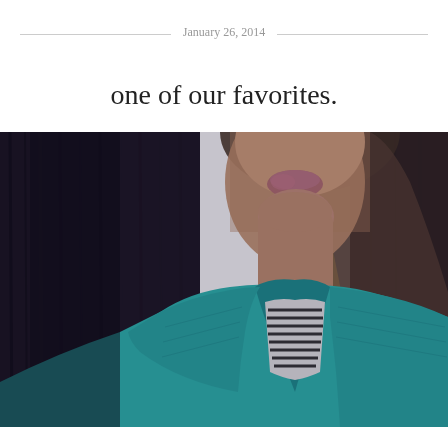January 26, 2014
one of our favorites.
[Figure (photo): Close-up photo of a young woman from chin level, wearing a teal/turquoise quilted puffer jacket over a black and white striped shirt, with long blonde hair, against a dark wooden background.]